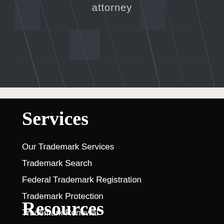[Figure (photo): Dark background photo of what appears to be a building interior or glass structure, with the word 'attorney' displayed in light text near the top center]
Services
Our Trademark Services
Trademark Search
Federal Trademark Registration
Trademark Protection
Trademark Renewal
Resources